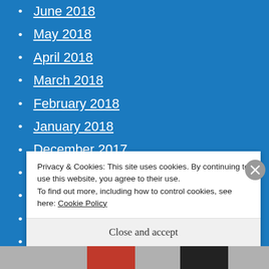June 2018
May 2018
April 2018
March 2018
February 2018
January 2018
December 2017
November 2017
October 2017
September 2017
August 2017
Privacy & Cookies: This site uses cookies. By continuing to use this website, you agree to their use.
To find out more, including how to control cookies, see here: Cookie Policy
Close and accept